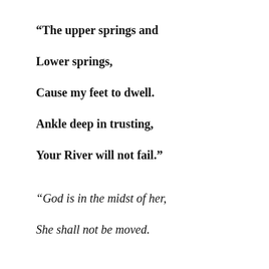“The upper springs and
Lower springs,
Cause my feet to dwell.
Ankle deep in trusting,
Your River will not fail.”
“God is in the midst of her,
She shall not be moved.